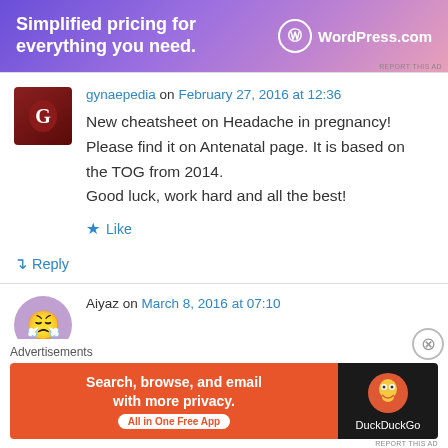[Figure (screenshot): WordPress.com advertisement banner with purple gradient background showing 'Simplified pricing for everything you need.' with WordPress.com logo]
REPORT THIS AD
gynaepedia on February 27, 2016 at 12:36
New cheatsheet on Headache in pregnancy! Please find it on Antenatal page. It is based on the TOG from 2014.
Good luck, work hard and all the best!
★ Like
↵ Reply
Aiyaz on March 8, 2016 at 07:10
Advertisements
[Figure (screenshot): DuckDuckGo advertisement: 'Search, browse, and email with more privacy. All in One Free App' with DuckDuckGo duck logo on dark right panel]